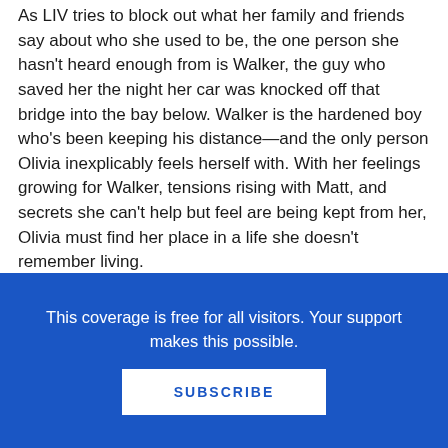As LIV tries to block out what her family and friends say about who she used to be, the one person she hasn't heard enough from is Walker, the guy who saved her the night her car was knocked off that bridge into the bay below. Walker is the hardened boy who's been keeping his distance—and the only person Olivia inexplicably feels herself with. With her feelings growing for Walker, tensions rising with Matt, and secrets she can't help but feel are being kept from her, Olivia must find her place in a life she doesn't remember living.
Filed under: New Releases
This coverage is free for all visitors. Your support makes this possible.
SUBSCRIBE